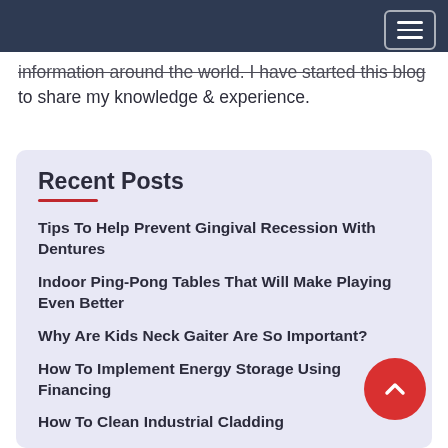information around the world. I have started this blog to share my knowledge & experience.
Recent Posts
Tips To Help Prevent Gingival Recession With Dentures
Indoor Ping-Pong Tables That Will Make Playing Even Better
Why Are Kids Neck Gaiter Are So Important?
How To Implement Energy Storage Using Financing
How To Clean Industrial Cladding